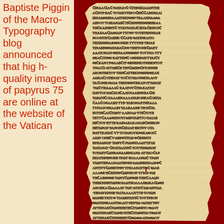Baptiste Piggin of the Macro-Typography blog announced that high-quality images of papyrus 75 are online at the website of the Vatican
[Figure (photo): High-resolution photo of Papyrus 75, an ancient Greek manuscript papyrus with handwritten Greek text in brown ink on aged yellowed papyrus, displayed against a dark red/crimson background. The papyrus shows dense lines of ancient Greek script.]